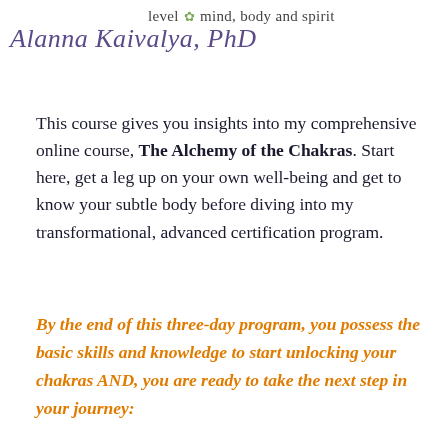[Figure (illustration): Handwritten script signature 'Alanna Kaivalya, PhD' in purple/violet ink overlapping with text 'level • mind, body and spirit']
This course gives you insights into my comprehensive online course, The Alchemy of the Chakras. Start here, get a leg up on your own well-being and get to know your subtle body before diving into my transformational, advanced certification program.
By the end of this three-day program, you possess the basic skills and knowledge to start unlocking your chakras AND, you are ready to take the next step in your journey: